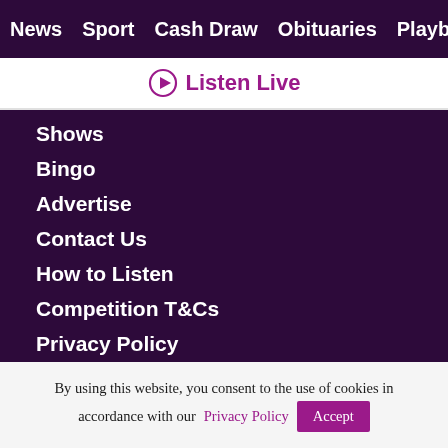News  Sport  Cash Draw  Obituaries  Playback  S
▶ Listen Live
Shows
Bingo
Advertise
Contact Us
How to Listen
Competition T&Cs
Privacy Policy
By using this website, you consent to the use of cookies in accordance with our Privacy Policy  Accept